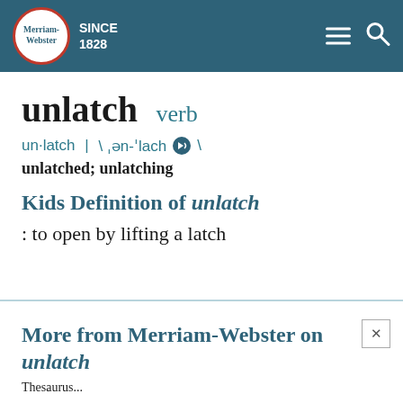Merriam-Webster SINCE 1828
unlatch  verb
un·latch  |  \ ˌən-'lach \
unlatched; unlatching
Kids Definition of unlatch
: to open by lifting a latch
More from Merriam-Webster on unlatch
Thesaurus...